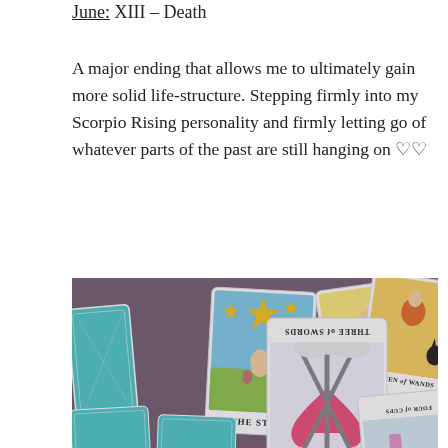June: XIII – Death
A major ending that allows me to ultimately gain more solid life-structure. Stepping firmly into my Scorpio Rising personality and firmly letting go of whatever parts of the past are still hanging on ♡♡
[Figure (photo): Photograph of several tarot cards spread on a purple fabric background. Visible cards include The Star, The Fool, Three of Swords (reversed), Queen of Wands, and Four of Cups (reversed).]